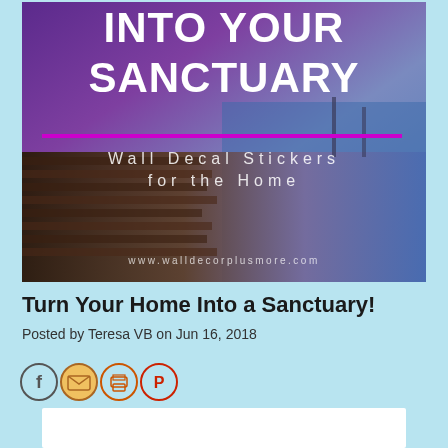[Figure (illustration): Blog post hero image with purple/blue sunset dock scene. White bold text reads 'INTO YOUR SANCTUARY' at the top with a magenta horizontal line, then 'Wall Decal Stickers for the Home' in spaced white text, and 'www.walldecorplusmore.com' at the bottom.]
Turn Your Home Into a Sanctuary!
Posted by Teresa VB on Jun 16, 2018
[Figure (infographic): Row of four circular social sharing icons: Facebook (grey circle with f), Email (orange/yellow circle with envelope), Print (orange circle with printer), Pinterest (red circle with P logo)]